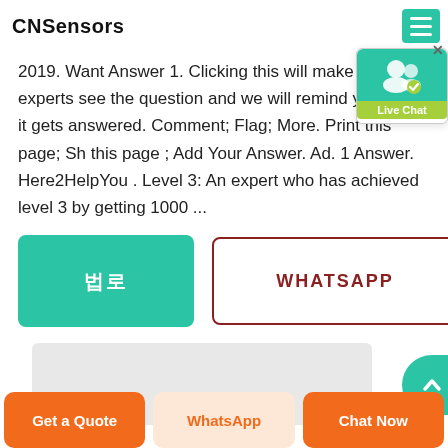CNSensors
2019. Want Answer 1. Clicking this will make more experts see the question and we will remind you when it gets answered. Comment; Flag; More. Print this page; Sh this page ; Add Your Answer. Ad. 1 Answer. Here2HelpYou . Level 3: An expert who has achieved level 3 by getting 1000 ...
[Figure (screenshot): Two buttons: a teal button with Korean characters and a white button with dark red border labeled WHATSAPP]
[Figure (screenshot): Gray content placeholder box with a teal circle/arrow button on the right]
[Figure (screenshot): Live Chat widget overlay in top right corner with teal icon and green label]
Get a Quote | WhatsApp | Chat Now